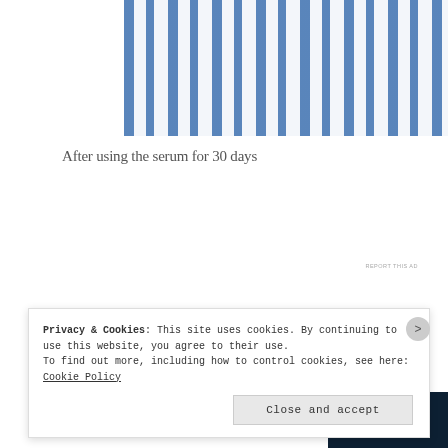[Figure (photo): Person in blue and white striped shirt holding product bottles, cropped view of torso]
After using the serum for 30 days
[Figure (other): Advertisement banner: 'Opinions. We all have them!' with WordPress and another logo on dark navy background]
REPORT THIS AD
[Figure (photo): Partial photo visible behind cookie consent banner]
Privacy & Cookies: This site uses cookies. By continuing to use this website, you agree to their use.
To find out more, including how to control cookies, see here: Cookie Policy
Close and accept